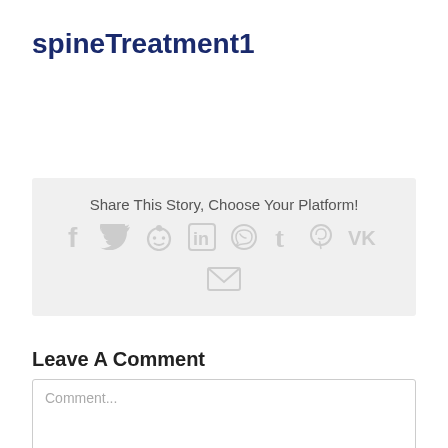spineTreatment1
Share This Story, Choose Your Platform!
[Figure (infographic): Social sharing icons row: Facebook, Twitter, Reddit, LinkedIn, WhatsApp, Tumblr, Pinterest, VK, and Email icons in light gray]
Leave A Comment
Comment...